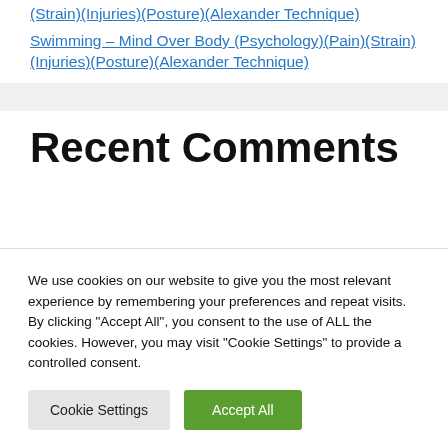(Strain)(Injuries)(Posture)(Alexander Technique)
Swimming – Mind Over Body (Psychology)(Pain)(Strain)(Injuries)(Posture)(Alexander Technique)
Recent Comments
We use cookies on our website to give you the most relevant experience by remembering your preferences and repeat visits. By clicking "Accept All", you consent to the use of ALL the cookies. However, you may visit "Cookie Settings" to provide a controlled consent.